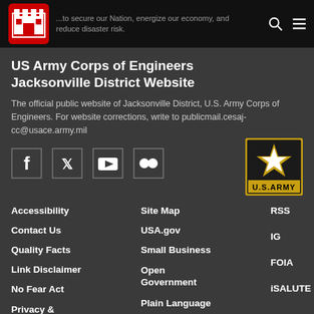...to secure our Nation, energize our economy, and reduce disaster risk.
US Army Corps of Engineers Jacksonville District Website
The official public website of Jacksonville District, U.S. Army Corps of Engineers. For website corrections, write to publicmail.cesaj-cc@usace.army.mil
[Figure (logo): Social media icons: Facebook, Twitter, YouTube, Flickr; and U.S. Army star logo]
Accessibility
Contact Us
Quality Facts
Link Disclaimer
No Fear Act
Privacy & Security
Site Map
USA.gov
Small Business
Open Government
Plain Language
EEO & SHARP
RSS
IG
FOIA
iSALUTE